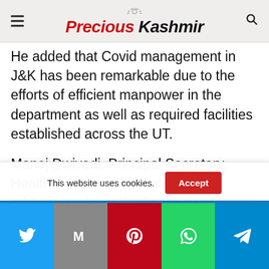Precious Kashmir
He added that Covid management in J&K has been remarkable due to the efforts of efficient manpower in the department as well as required facilities established across the UT.
Manoj Dwivedi, Principal Secretary, Health & Medical Education, in his address said that the health department, despite challenges, is striving hard to achieve the goal of universal healthcare for the people. He complimented the NHM for organizing this important conclave on Maternal and
This website uses cookies.
Social share bar: Twitter, Gmail, Pinterest, WhatsApp, Telegram